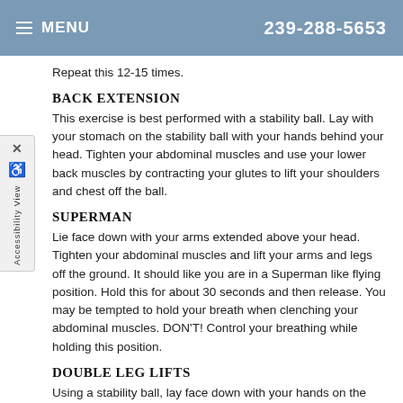MENU  239-288-5653
Repeat this 12-15 times.
BACK EXTENSION
This exercise is best performed with a stability ball. Lay with your stomach on the stability ball with your hands behind your head. Tighten your abdominal muscles and use your lower back muscles by contracting your glutes to lift your shoulders and chest off the ball.
SUPERMAN
Lie face down with your arms extended above your head. Tighten your abdominal muscles and lift your arms and legs off the ground. It should like you are in a Superman like flying position. Hold this for about 30 seconds and then release. You may be tempted to hold your breath when clenching your abdominal muscles. DON'T! Control your breathing while holding this position.
DOUBLE LEG LIFTS
Using a stability ball, lay face down with your hands on the